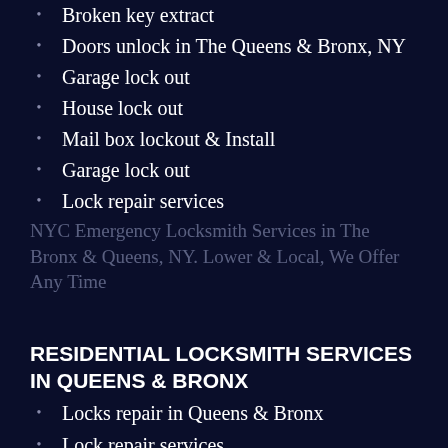Broken key extract
Doors unlock in The Queens & Bronx, NY
Garage lock out
House lock out
Mail box lockout & Install
Garage lock out
Lock repair services
NYC Emergency Locksmith Services in The Bronx & Queens, NY. Lower & Local, We Offer Any Time
RESIDENTIAL LOCKSMITH SERVICES IN QUEENS & BRONX
Locks repair in Queens & Bronx
Lock repair services
Mail box lockout & Install
Create master system